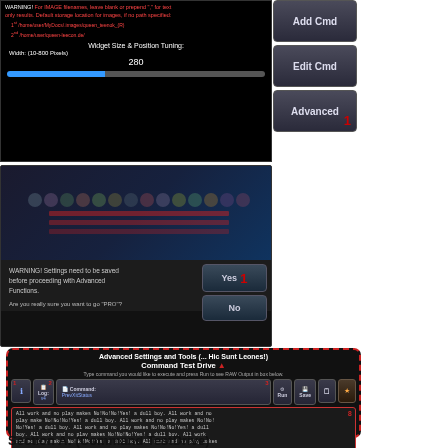[Figure (screenshot): Dark UI panel showing Widget Size & Position Tuning settings with Width 280, slider bar, WARNING text about IMAGE filenames, and path links. Buttons: Add Cmd, Edit Cmd, Advanced (with red 1 marker).]
[Figure (screenshot): Dark UI showing a blurred game lobby/grid with avatars, and a dialog warning: 'WARNING! Settings need to be saved before proceeding with Advanced Functions. Are you really sure you want to go PRO?' with Yes (red 1) and No buttons.]
[Figure (screenshot): Advanced Settings and Tools (... Hic Sunt Leones!) panel with Command Test Drive section. Toolbar with Info(1), Log v4(2), Command: PrevXitStatus(3), Run(4), Save(5), buttons 6 and 7. Output text box (8) showing repeated 'All work and no play makes No!No!No!Yes! a dull boy.' Status box (9) showing 'Exit Status & Command RAW Output will be displayed HERE'.]
Section A: (Command TestDrive)